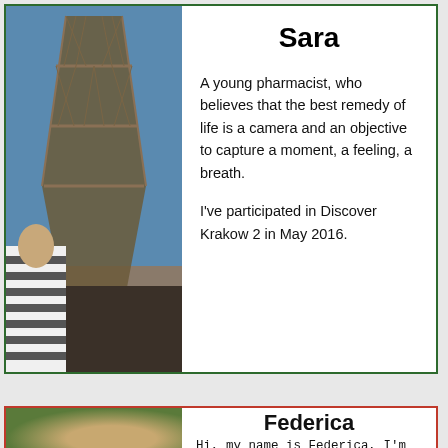[Figure (photo): Photo of the Eiffel Tower taken from below at an angle, with a person in a striped shirt visible in the lower left corner, blue sky in background.]
Sara
A young pharmacist, who believes that the best remedy of life is a camera and an objective to capture a moment, a feeling, a breath.
I've participated in Discover Krakow 2 in May 2016.
[Figure (photo): Partial photo showing green foliage and a person with glasses, partially visible at bottom of page.]
Federica
Hi, my name is Federica, I'm 20 and I'm a